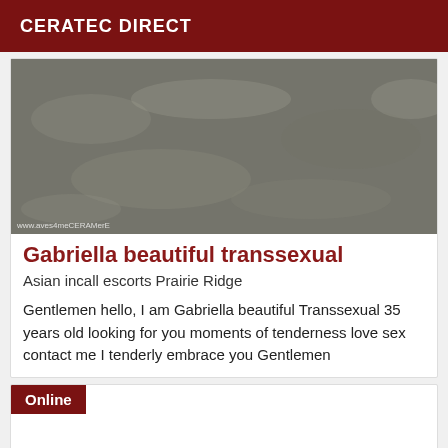CERATEC DIRECT
[Figure (photo): Grayscale textured photograph, appears to be a ground or surface texture]
Gabriella beautiful transsexual
Asian incall escorts Prairie Ridge
Gentlemen hello, I am Gabriella beautiful Transsexual 35 years old looking for you moments of tenderness love sex contact me I tenderly embrace you Gentlemen
Online